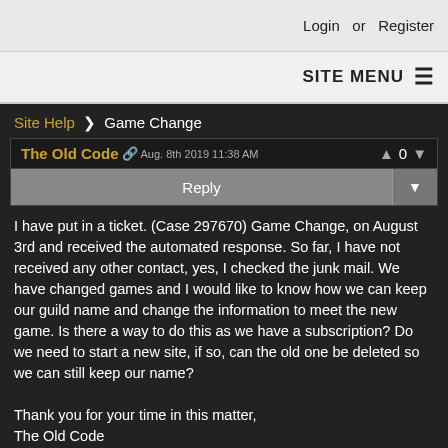Login or Register
SITE MENU
Site Help > Game Change
The Old Code  Aug. 8th 2019 11:38 AM   0
Reply
I have put in a ticket.  (Case 297670) Game Change, on August 3rd and received the automated response.  So far, I have not received any other contact, yes, I checked the junk mail.  We have changed games and I would like to know how we can keep our guild name and change the information to meet the new game.  Is there a way to do this as we have a subscription?  Do we need to start a new site, if so, can the old one be deleted so we can still keep our name?

Thank you for your time in this matter,
The Old Code